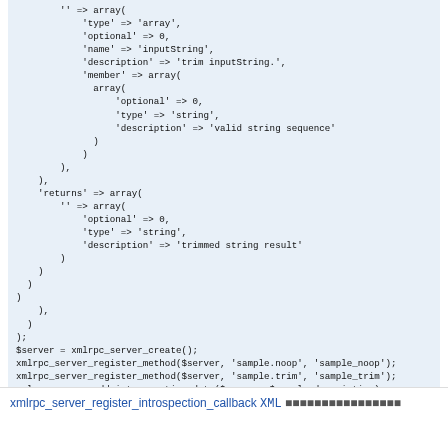PHP code block showing xmlrpc server setup with array definitions, returns, and server method registration calls
xmlrpc_server_register_introspection_callback XML ...